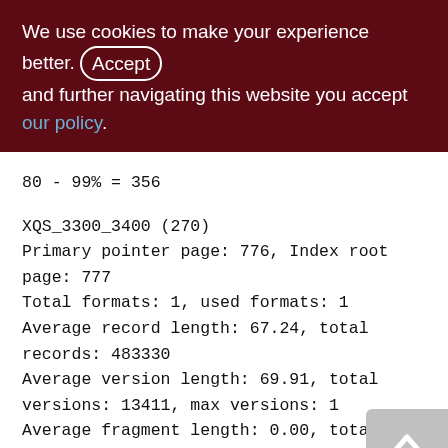We use cookies to make your experience better. By accepting and further navigating this website you accept our policy.
80 - 99% = 356
XQS_3300_3400 (270)
Primary pointer page: 776, Index root page: 777
Total formats: 1, used formats: 1
Average record length: 67.24, total records: 483330
Average version length: 69.91, total versions: 13411, max versions: 1
Average fragment length: 0.00, total fragments: 0, max fragments: 0